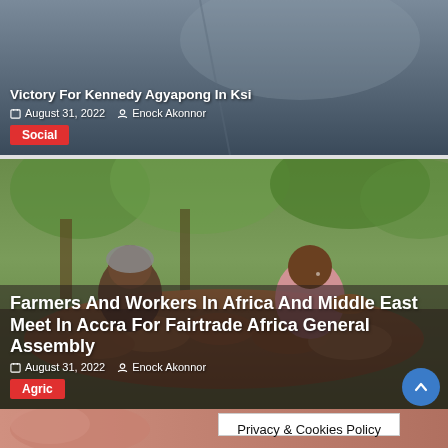Victory For Kennedy Agyapong In Ksi
August 31, 2022   Enock Akonnor
Social
[Figure (photo): Two people (farmers) sitting with cocoa pods in a lush green outdoor setting in Africa]
Farmers And Workers In Africa And Middle East Meet In Accra For Fairtrade Africa General Assembly
August 31, 2022   Enock Akonnor
Agric
Privacy & Cookies Policy